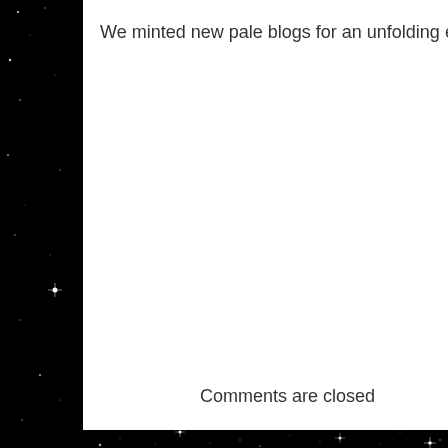We minted new pale blogs for an unfolding era of
Comments are closed